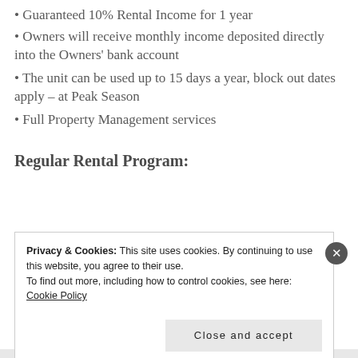• Guaranteed 10% Rental Income for 1 year
• Owners will receive monthly income deposited directly into the Owners' bank account
• The unit can be used up to 15 days a year, block out dates apply – at Peak Season
• Full Property Management services
Regular Rental Program:
Privacy & Cookies: This site uses cookies. By continuing to use this website, you agree to their use.
To find out more, including how to control cookies, see here:
Cookie Policy
Close and accept